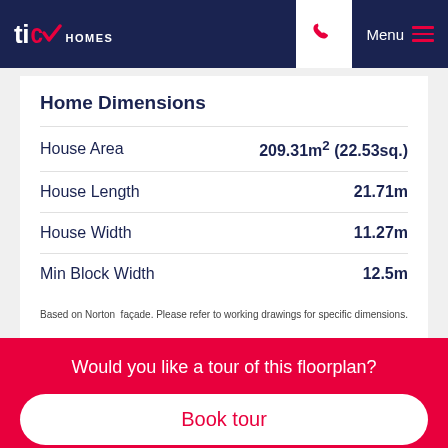Tick Homes — Menu
Home Dimensions
| Dimension | Value |
| --- | --- |
| House Area | 209.31m² (22.53sq.) |
| House Length | 21.71m |
| House Width | 11.27m |
| Min Block Width | 12.5m |
Based on Norton  façade. Please refer to working drawings for specific dimensions.
Would you like a tour of this floorplan?
Book tour
Close